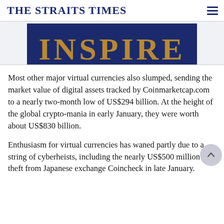THE STRAITS TIMES
[Figure (photo): Dark navy blue banner image with partial gold/orange text visible, partially cropped at top of page]
Most other major virtual currencies also slumped, sending the market value of digital assets tracked by Coinmarketcap.com to a nearly two-month low of US$294 billion. At the height of the global crypto-mania in early January, they were worth about US$830 billion.
Enthusiasm for virtual currencies has waned partly due to a string of cyberheists, including the nearly US$500 million theft from Japanese exchange Coincheck in late January.